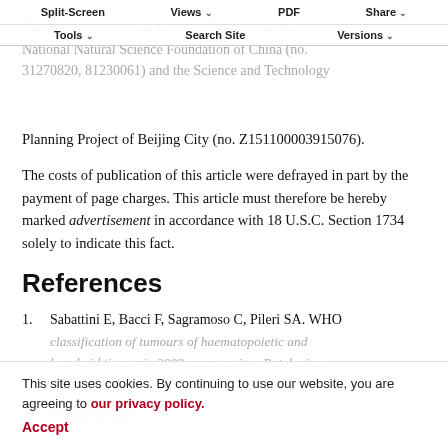Split-Screen   Views   PDF   Share   Tools   Search Site   Versions
The clinical study was funded by the grants from the National Natural Science Foundation of China (no. 31270820, 81230061) and the Science and Technology Planning Project of Beijing City (no. Z151100003915076).
The costs of publication of this article were defrayed in part by the payment of page charges. This article must therefore be hereby marked advertisement in accordance with 18 U.S.C. Section 1734 solely to indicate this fact.
References
1.   Sabattini E, Bacci F, Sagramoso C, Pileri SA. WHO classification of tumours of haematopoietic and lymphoid tissues in 2008: an overview. Patologica 2010;102:83-7.
This site uses cookies. By continuing to use our website, you are agreeing to our privacy policy.
Accept